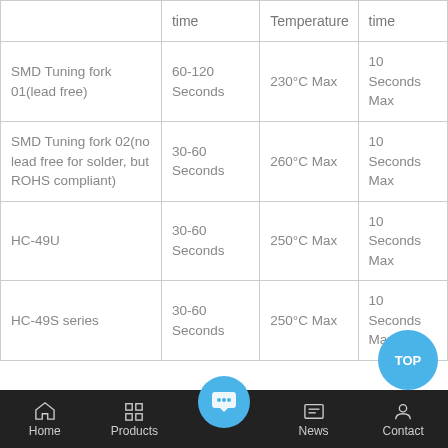|  | time | Temperature | time |
| --- | --- | --- | --- |
| SMD Tuning fork 01(lead free) | 60-120 Seconds | 230°C Max | 10 Seconds Max |
| SMD Tuning fork 02(no lead free for solder, but ROHS compliant) | 30-60 Seconds | 260°C Max | 10 Seconds Max |
| HC-49U | 30-60 Seconds | 250°C Max | 10 Seconds Max |
| HC-49S series | 30-60 Seconds | 250°C Max | 10 Seconds Max |
Home  Products  News  Contact